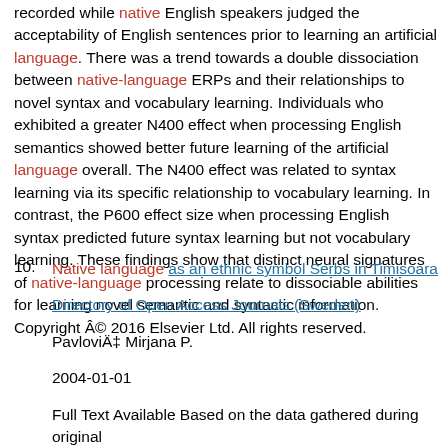recorded while native English speakers judged the acceptability of English sentences prior to learning an artificial language. There was a trend towards a double dissociation between native-language ERPs and their relationships to novel syntax and vocabulary learning. Individuals who exhibited a greater N400 effect when processing English semantics showed better future learning of the artificial language overall. The N400 effect was related to syntax learning via its specific relationship to vocabulary learning. In contrast, the P600 effect size when processing English syntax predicted future syntax learning but not vocabulary learning. These findings show that distinct neural signatures of native-language processing relate to dissociable abilities for learning novel semantic and syntactic information. Copyright © 2016 Elsevier Ltd. All rights reserved.
10. Native language as an ethnic symbol Serbs in Timisoara

Directory of Open Access Journals (Sweden)

Pavlovič Mirjana P.

2004-01-01

Full Text Available Based on the data gathered during original